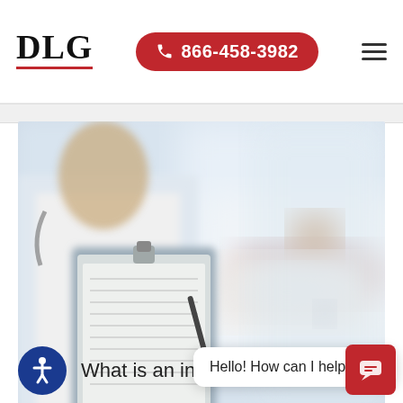DLG  866-458-3982
[Figure (photo): Doctor in white coat holding a clipboard with a pen, reviewing a form, with a patient lying in the background on a hospital bed. Blurred medical setting.]
What is an ind... at
Hello! How can I help you?